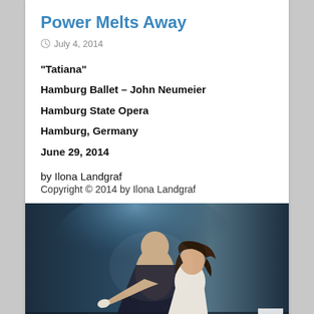Power Melts Away
July 4, 2014
"Tatiana"
Hamburg Ballet – John Neumeier
Hamburg State Opera
Hamburg, Germany
June 29, 2014
by Ilona Landgraf
Copyright © 2014 by Ilona Landgraf
[Figure (photo): Two ballet performers on stage in dramatic lighting — a bald male dancer in a dark cape stands behind a female dancer in a white dress, both in an intense dramatic pose against a dark teal background.]